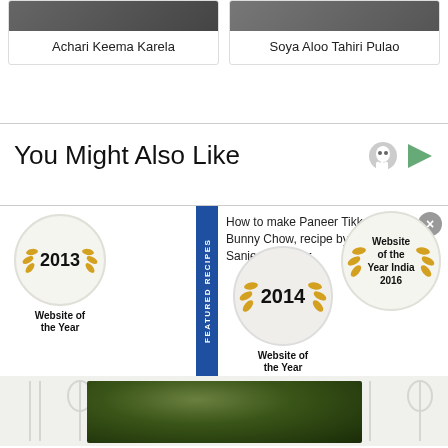[Figure (photo): Two recipe card images side by side: Achari Keema Karela and Soya Aloo Tahiri Pulao]
Achari Keema Karela
Soya Aloo Tahiri Pulao
You Might Also Like
How to make Paneer Tikka Masala Bunny Chow, recipe by MasterChef Sanjeev Kapoor
FEATURED RECIPES
[Figure (illustration): 2013 Website of the Year award badge with laurel wreath]
[Figure (illustration): 2014 Website of the Year award badge with laurel wreath]
[Figure (illustration): Website of the Year India 2016 award badge with laurel wreath]
[Figure (photo): Food photo at the bottom of the page with green garnish]